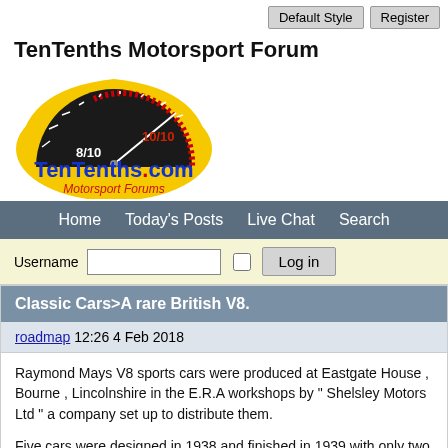Default Style   Register
TenTenths Motorsport Forum
[Figure (logo): TenTenths.com Motorsport Forums logo with speedometer graphic showing 8/10 and 10/10 on a yellow and black semicircle background]
Home   Today's Posts   Live Chat   Search
Username  [input]  [checkbox]  Log in
Classic Cars>A rare British V8.
roadmap 12:26 4 Feb 2018
Raymond Mays V8 sports cars were produced at Eastgate House , Bourne , Lincolnshire in the E.R.A workshops by " Shelsley Motors Ltd " a company set up to distribute them.

Five cars were designed in 1938 and finished in 1939 with only two surviving today.

They were planned to be E.R.A sports cars but with internal bickering within the board and E.R.A concerning trade mark ownership , financing and WW2 on the horizon , the venture stalled but not before four cars